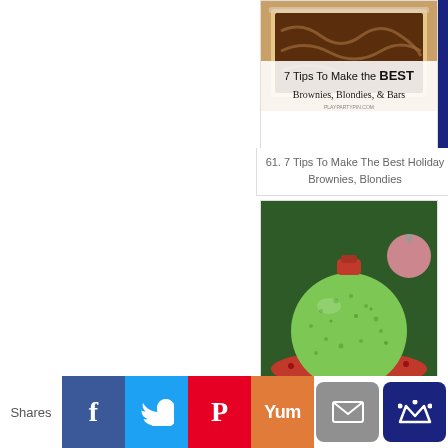[Figure (photo): Photo of brownies/blondies with decorative text overlay: '7 Tips To Make the BEST Brownies, Blondies, & Bars']
61. 7 Tips To Make The Best Holiday Brownies, Blondies
[Figure (photo): Photo of a green Rice Krispies treat shaped like a Christmas ornament with a red candy on top, sitting on a red plate]
62. Ornament Rice Crispy Treats for...